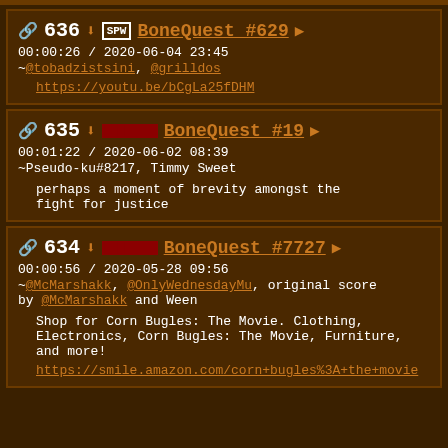636 BoneQuest #629 | 00:00:26 / 2020-06-04 23:45 | ~@tobadzistsini, @grilldos | https://youtu.be/bCgLa25fDHM
635 BoneQuest #19 | 00:01:22 / 2020-06-02 08:39 | ~Pseudo-ku#8217, Timmy Sweet | perhaps a moment of brevity amongst the fight for justice
634 BoneQuest #7727 | 00:00:56 / 2020-05-28 09:56 | ~@McMarshakk, @OnlyWednesdayMu, original score by @McMarshakk and Ween | Shop for Corn Bugles: The Movie. Clothing, Electronics, Corn Bugles: The Movie, Furniture, and more! https://smile.amazon.com/corn+bugles%3A+the+movie